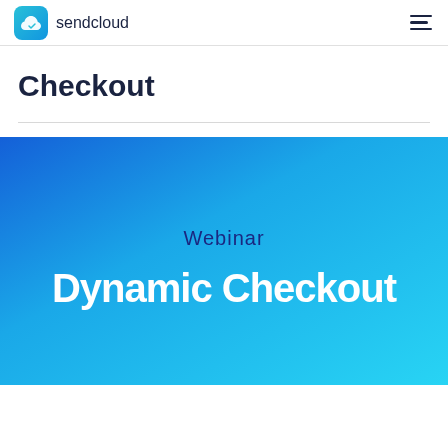sendcloud
Checkout
[Figure (illustration): Webinar promotional banner with blue gradient background. Text reads 'Webinar' in dark blue and 'Dynamic Checkout' in large bold white text.]